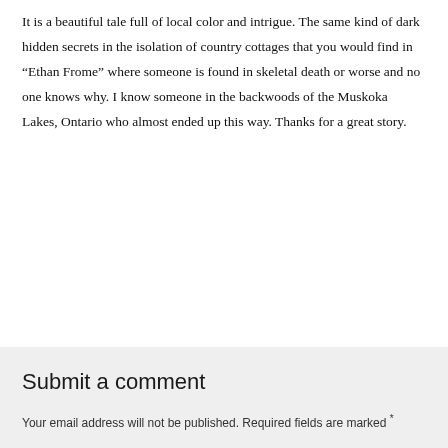It is a beautiful tale full of local color and intrigue. The same kind of dark hidden secrets in the isolation of country cottages that you would find in “Ethan Frome” where someone is found in skeletal death or worse and no one knows why. I know someone in the backwoods of the Muskoka Lakes, Ontario who almost ended up this way. Thanks for a great story.
Submit a comment
Your email address will not be published. Required fields are marked *